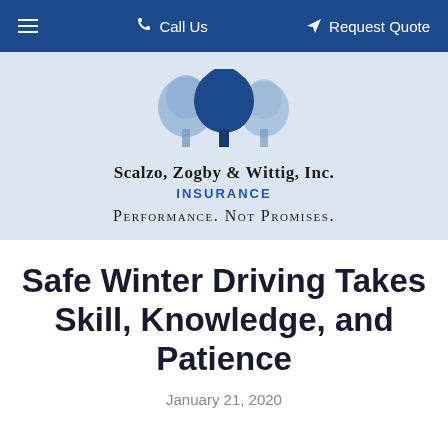≡  Call Us    ➤ Request Quote
[Figure (logo): Scalzo, Zogby & Wittig, Inc. Insurance logo with three trees (two light blue/grey flanking a dark blue center tree) and the text 'SCALZO, ZOGBY & WITTIG, INC.' in bold serif with 'INSURANCE' in blue below, and tagline 'PERFORMANCE. NOT PROMISES.']
Safe Winter Driving Takes Skill, Knowledge, and Patience
January 21, 2020